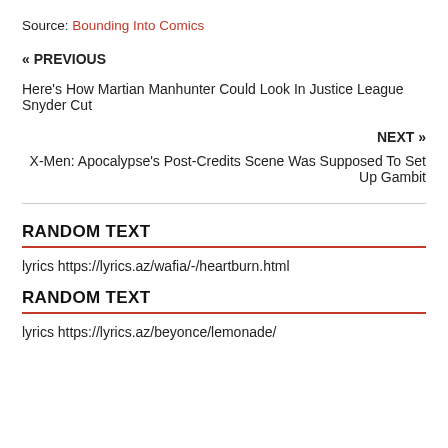Source: Bounding Into Comics
« PREVIOUS
Here's How Martian Manhunter Could Look In Justice League Snyder Cut
NEXT »
X-Men: Apocalypse's Post-Credits Scene Was Supposed To Set Up Gambit
RANDOM TEXT
lyrics https://lyrics.az/wafia/-/heartburn.html
RANDOM TEXT
lyrics https://lyrics.az/beyonce/lemonade/